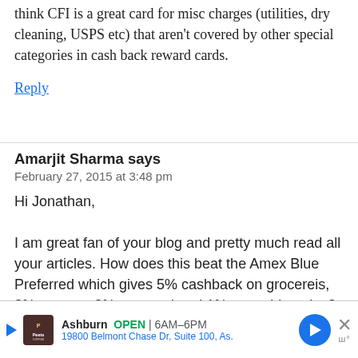think CFI is a great card for misc charges (utilities, dry cleaning, USPS etc) that aren't covered by other special categories in cash back reward cards.
Reply
Amarjit Sharma says
February 27, 2015 at 3:48 pm
Hi Jonathan,

I am great fan of your blog and pretty much read all your articles. How does this beat the Amex Blue Preferred which gives 5% cashback on grocereis, 3% on gas , 2% on travel and 1% everything else? Ofcourse its has 75$ annual fee, but i feel its worth it.